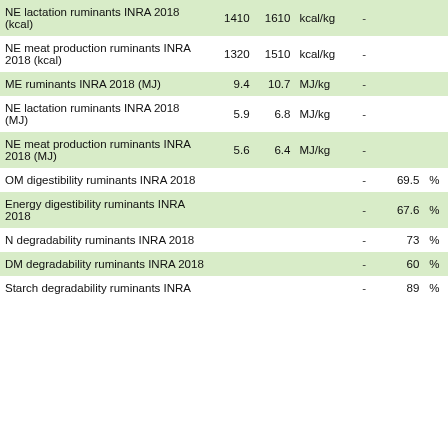| Parameter | Value1 | Value2 | Unit | Dash | Value3 | Unit2 |
| --- | --- | --- | --- | --- | --- | --- |
| NE lactation ruminants INRA 2018 (kcal) | 1410 | 1610 | kcal/kg | - |  |  |
| NE meat production ruminants INRA 2018 (kcal) | 1320 | 1510 | kcal/kg | - |  |  |
| ME ruminants INRA 2018 (MJ) | 9.4 | 10.7 | MJ/kg | - |  |  |
| NE lactation ruminants INRA 2018 (MJ) | 5.9 | 6.8 | MJ/kg | - |  |  |
| NE meat production ruminants INRA 2018 (MJ) | 5.6 | 6.4 | MJ/kg | - |  |  |
| OM digestibility ruminants INRA 2018 |  |  |  | - | 69.5 | % |
| Energy digestibility ruminants INRA 2018 |  |  |  | - | 67.6 | % |
| N degradability ruminants INRA 2018 |  |  |  | - | 73 | % |
| DM degradability ruminants INRA 2018 |  |  |  | - | 60 | % |
| Starch degradability ruminants INRA |  |  |  | - | 89 | % |